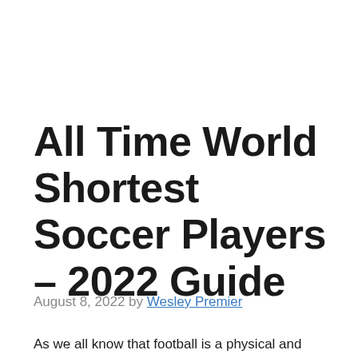All Time World Shortest Soccer Players – 2022 Guide
August 8, 2022 by Wesley Premier
As we all know that football is a physical and